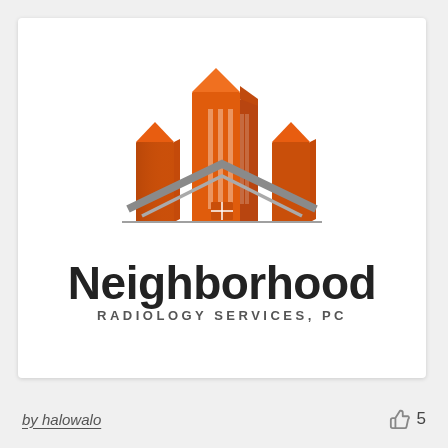[Figure (logo): Neighborhood Radiology Services PC logo — orange city buildings rising above a grey house roofline with a small orange window, with the company name below]
by halowalo
5